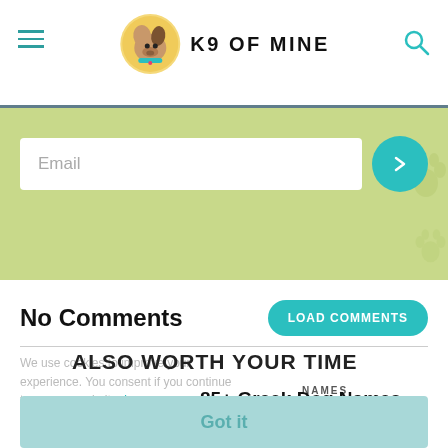K9 OF MINE
[Figure (screenshot): Green email signup banner with email input field and teal submit button]
No Comments
LOAD COMMENTS
We use cookies to improve your experience. You consent if you continue to use our website. Learn
ALSO WORTH YOUR TIME
NAMES
85+ Greek Dog Names
Got it